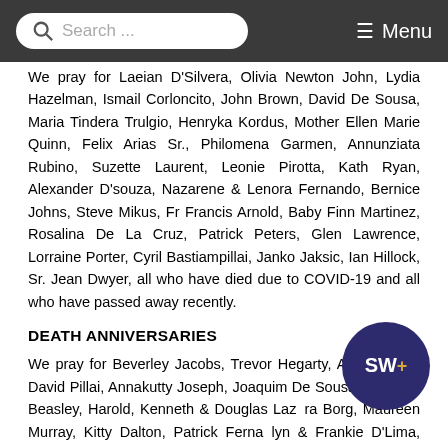Search ... Menu
We pray for Laeian D'Silvera, Olivia Newton John, Lydia Hazelman, Ismail Corloncito, John Brown, David De Sousa, Maria Tindera Trulgio, Henryka Kordus, Mother Ellen Marie Quinn, Felix Arias Sr., Philomena Garmen, Annunziata Rubino, Suzette Laurent, Leonie Pirotta, Kath Ryan, Alexander D'souza, Nazarene & Lenora Fernando, Bernice Johns, Steve Mikus, Fr Francis Arnold, Baby Finn Martinez, Rosalina De La Cruz, Patrick Peters, Glen Lawrence, Lorraine Porter, Cyril Bastiampillai, Janko Jaksic, Ian Hillock, Sr. Jean Dwyer, all who have died due to COVID-19 and all who have passed away recently.
DEATH ANNIVERSARIES
We pray for Beverley Jacobs, Trevor Hegarty, Ajish Kurian, David Pillai, Annakutty Joseph, Joaquim De Sousa & Denise Beasley, Harold, Kenneth & Douglas Laz ra Borg, Maureen Murray, Kitty Dalton, Patrick Ferna yn & Frankie D'Lima, Kenneth Skinner, Margaret Nazareth, Hilda D'Souza, Ben & Maureen Halge, Garnette DeRozario and all whose anniversaries occur at this time.